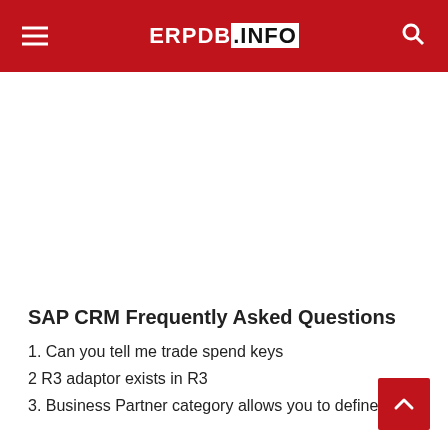ERPDB.INFO
SAP CRM Frequently Asked Questions
1. Can you tell me trade spend keys
2 R3 adaptor exists in R3
3. Business Partner category allows you to define